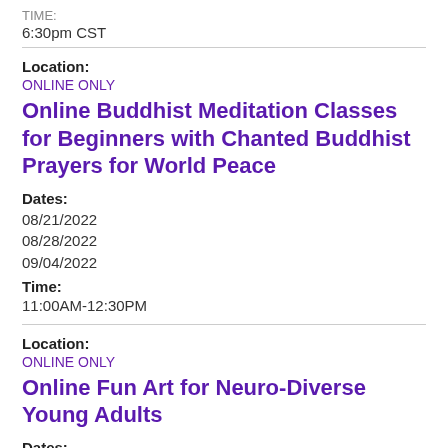TIME:
6:30pm CST
Location:
ONLINE ONLY
Online Buddhist Meditation Classes for Beginners with Chanted Buddhist Prayers for World Peace
Dates:
08/21/2022
08/28/2022
09/04/2022
Time:
11:00AM-12:30PM
Location:
ONLINE ONLY
Online Fun Art for Neuro-Diverse Young Adults
Dates:
08/22/2022